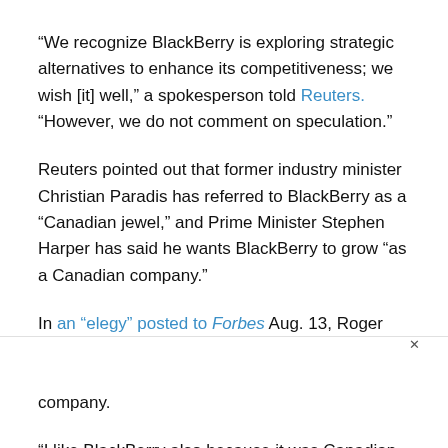“We recognize BlackBerry is exploring strategic alternatives to enhance its competitiveness; we wish [it] well,” a spokesperson told Reuters. “However, we do not comment on speculation.”
Reuters pointed out that former industry minister Christian Paradis has referred to BlackBerry as a “Canadian jewel,” and Prime Minister Stephen Harper has said he wants BlackBerry to grow “as a Canadian company.”
In an “elegy” posted to Forbes Aug. 13, Roger Kay, principal analyst at EndPoint Technology, spoke of the sweet, distinct Canadian-ness of the company.
“I like BlackBerry also because it was Canadian, and there was sor… wrote. “I could b… …lists